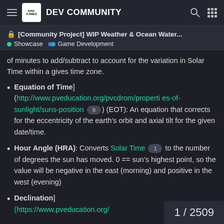EPIC GAMES DEV COMMUNITY
[Community Project] WIP Weather & Ocean Water...
Showcase  Game Development
of minutes to add/subtract to account for the variation in Solar Time within a gives time zone.
Equation of Time] (http://www.pveducation.org/pvcdrom/properties-of-sunlight/suns-position 9) (EOT): An equation that corrects for the eccentricity of the earth's orbit and axial tilt for the given date/time.
Hour Angle (HRA): Converts Solar Time 1 to the number of degrees the sun has moved. 0 == sun's highest point, so the value will be negative in the east (morning) and positive in the west (evening)
Declination] (https://www.pveducation.org/...
1 / 2509